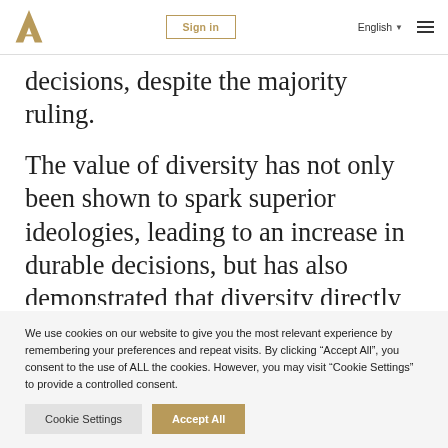Sign in | English | [menu]
decisions, despite the majority ruling.
The value of diversity has not only been shown to spark superior ideologies, leading to an increase in durable decisions, but has also demonstrated that diversity directly translates into [partial line cut off]
We use cookies on our website to give you the most relevant experience by remembering your preferences and repeat visits. By clicking “Accept All”, you consent to the use of ALL the cookies. However, you may visit “Cookie Settings” to provide a controlled consent.